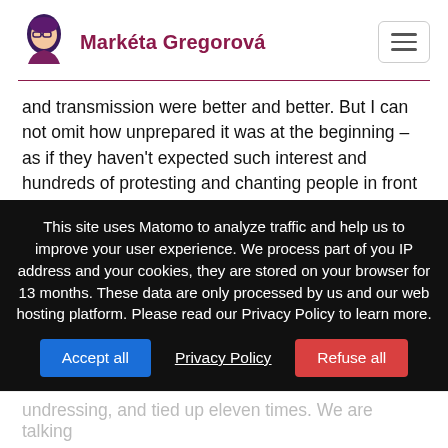Markéta Gregorová
and transmission were better and better. But I can not omit how unprepared it was at the beginning – as if they haven't expected such interest and hundreds of protesting and chanting people in front of the court every day. The oldest democracy in the world was thus ironically unprepared for people's interest, but showed an outdated approach to technology.
This site uses Matomo to analyze traffic and help us to improve your user experience. We process part of you IP address and your cookies, they are stored on your browser for 13 months. These data are only processed by us and our web hosting platform. Please read our Privacy Policy to learn more.
undressing, and tied up eleven times. We are talking